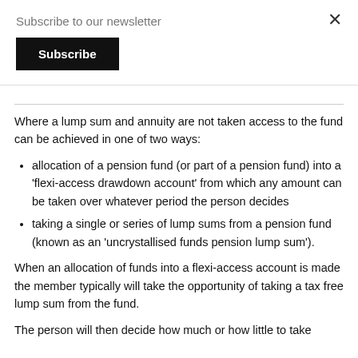Subscribe to our newsletter
[Figure (other): Black Subscribe button]
Where a lump sum and annuity are not taken access to the fund can be achieved in one of two ways:
allocation of a pension fund (or part of a pension fund) into a 'flexi-access drawdown account' from which any amount can be taken over whatever period the person decides
taking a single or series of lump sums from a pension fund (known as an 'uncrystallised funds pension lump sum').
When an allocation of funds into a flexi-access account is made the member typically will take the opportunity of taking a tax free lump sum from the fund.
The person will then decide how much or how little to take